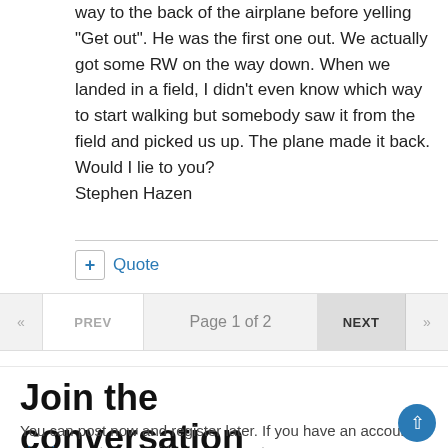way to the back of the airplane before yelling "Get out". He was the first one out. We actually got some RW on the way down. When we landed in a field, I didn't even know which way to start walking but somebody saw it from the field and picked us up. The plane made it back.
Would I lie to you?
Stephen Hazen
+ Quote
« PREV  Page 1 of 2  NEXT »
Join the conversation
You can post now and register later. If you have an account, sign in now to post with your account.